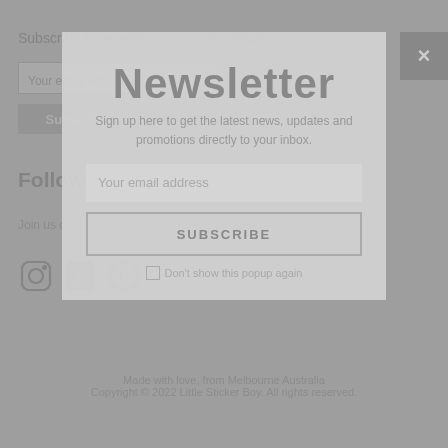Subscribe to receive coupons and deals
Your email address
Subscribe
Follow @littlestickerboy
Join us on the conversation and let's be friends
[Figure (other): Social media icons: Instagram, Facebook, Pinterest]
Newsletter
Sign up here to get the latest news, updates and promotions directly to your inbox.
Your email address
SUBSCRIBE
Don't show this popup again
Made with love, from Melbourne Australia
Copyright © 2022 Little Sticker Boy. All rights reserved.